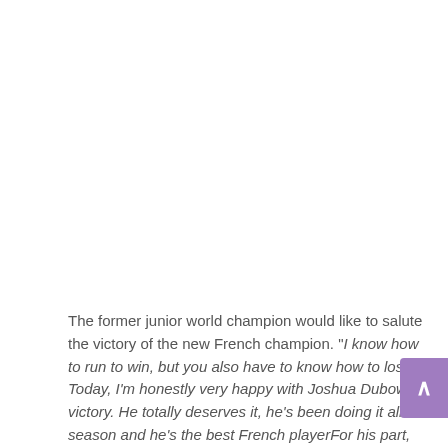The former junior world champion would like to salute the victory of the new French champion. "I know how to run to win, but you also have to know how to lose. Today, I'm honestly very happy with Joshua Dubow's victory. He totally deserves it, he's been doing it all season and he's the best French playerFor his part, he considers himself.More or less on time compared to [s]We have a walking plan. I wasn't early, but I